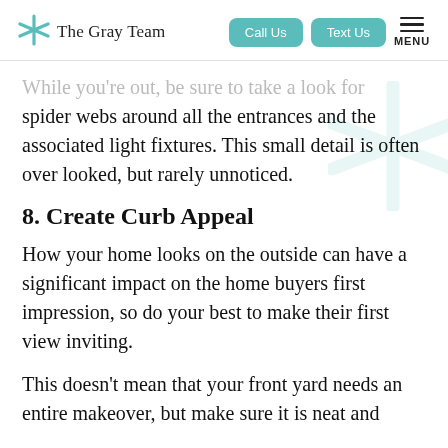The Gray Team | Call Us | Text Us | MENU
While you're out, be sure to take a look for spider webs around all the entrances and the associated light fixtures. This small detail is often over looked, but rarely unnoticed.
8. Create Curb Appeal
How your home looks on the outside can have a significant impact on the home buyers first impression, so do your best to make their first view inviting.
This doesn't mean that your front yard needs an entire makeover, but make sure it is neat and